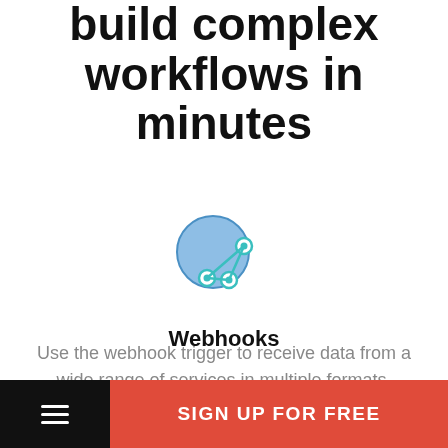build complex workflows in minutes
[Figure (logo): Webhooks icon: a large light blue circle with a dark network/graph node icon overlay, teal outlines]
Webhooks
Use the webhook trigger to receive data from a wide range of services in multiple formats, including JSON, form data, and plain text.
SIGN UP FOR FREE